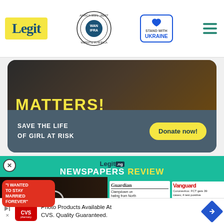Legit — WAN IFRA 2021 Best News Website in Africa — Stand with Ukraine
[Figure (infographic): Banner advertisement: dark photo background with 'MATTERS!' in yellow. Bottom section in dark slate: 'SAVE THE LIFE OF GIRL AT RISK' with 'Donate now!' yellow button.]
[Figure (infographic): Legit.ng Newspapers Review section on teal background, with video thumbnail overlay showing a couple, 'I WANTED TO STAY MARRIED FOREVER' quote bubble in red, play button, and newspaper thumbnails for Guardian, Vanguard, and Punch.]
[Figure (infographic): Bottom banner advertisement for CVS Pharmacy: 'Photo Products Available At CVS. Quality Guaranteed.' with CVS logo and blue arrow icon.]